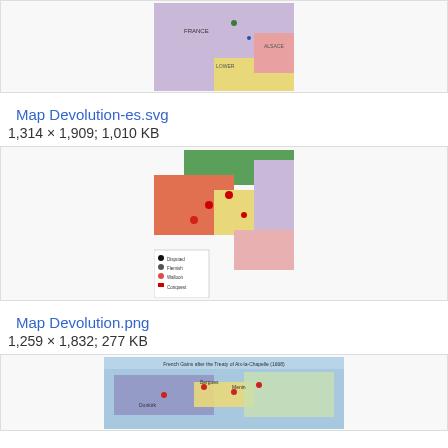[Figure (map): Partial view of a historical map (top of page, cropped) showing colored regions in purple, yellow, and pink with place names.]
Map Devolution-es.svg
1,314 × 1,909; 1,010 KB
[Figure (map): Map labeled 'Map Devolution' showing historical devolution map with green, red, orange, yellow, and purple colored regions with a legend at bottom left.]
Map Devolution.png
1,259 × 1,832; 277 KB
[Figure (map): Partial view of a map titled 'French Gains after the Treaty of Aix-la-Chapelle (1668)' showing coastal regions with red dots and purple/yellow shading.]